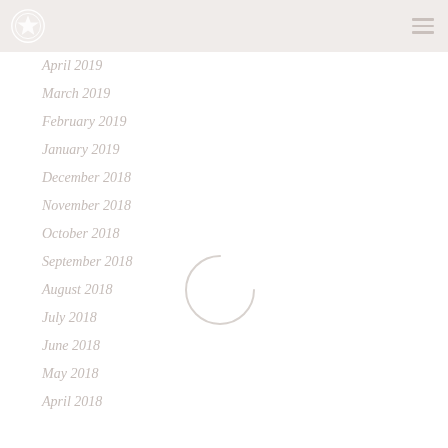Logo and navigation header
April 2019
March 2019
February 2019
January 2019
December 2018
November 2018
October 2018
September 2018
August 2018
July 2018
June 2018
May 2018
April 2018
[Figure (other): Loading spinner circle overlay in the center-right area of the page]